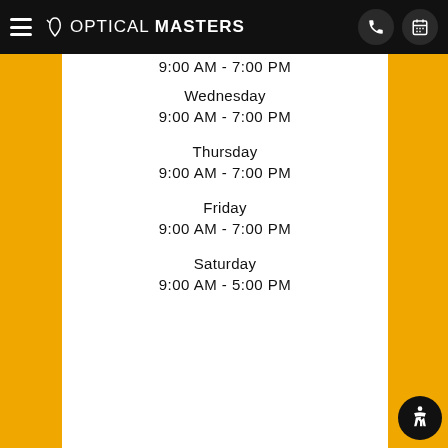Optical Masters navigation bar
9:00 AM - 7:00 PM
Wednesday
9:00 AM - 7:00 PM
Thursday
9:00 AM - 7:00 PM
Friday
9:00 AM - 7:00 PM
Saturday
9:00 AM - 5:00 PM